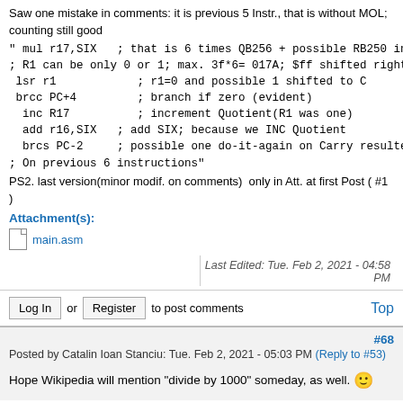Saw one mistake in comments: it is previous 5 Instr., that is without MOL; counting still good
" mul r17,SIX   ; that is 6 times QB256 + possible RB250 in RB256
; R1 can be only 0 or 1; max. 3f*6= 017A; $ff shifted right 2 times
 lsr r1            ; r1=0 and possible 1 shifted to C
 brcc PC+4         ; branch if zero (evident)
  inc R17          ; increment Quotient(R1 was one)
  add r16,SIX   ; add SIX; because we INC Quotient
  brcs PC-2     ; possible one do-it-again on Carry resulted from last instruction
; On previous 6 instructions"
PS2. last version(minor modif. on comments)  only in Att. at first Post ( #1 )
Attachment(s):
main.asm
Last Edited: Tue. Feb 2, 2021 - 04:58 PM
Log In or Register to post comments
#68
Posted by Catalin Ioan Stanciu: Tue. Feb 2, 2021 - 05:03 PM (Reply to #53)
Hope Wikipedia will mention "divide by 1000" someday, as well. 🙂